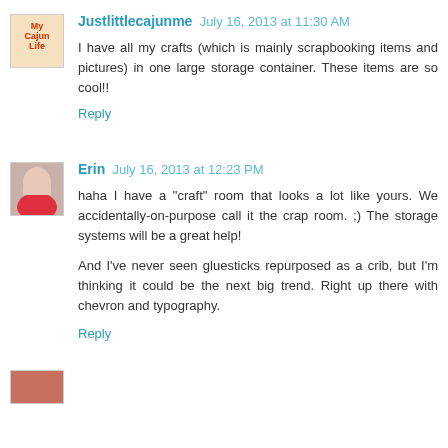Justlittlecajunme July 16, 2013 at 11:30 AM
I have all my crafts (which is mainly scrapbooking items and pictures) in one large storage container. These items are so cool!!
Reply
Erin July 16, 2013 at 12:23 PM
haha I have a "craft" room that looks a lot like yours. We accidentally-on-purpose call it the crap room. ;) The storage systems will be a great help!
And I've never seen gluesticks repurposed as a crib, but I'm thinking it could be the next big trend. Right up there with chevron and typography.
Reply